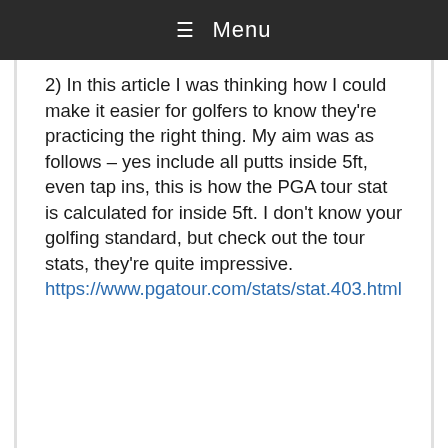≡ Menu
2) In this article I was thinking how I could make it easier for golfers to know they're practicing the right thing. My aim was as follows – yes include all putts inside 5ft, even tap ins, this is how the PGA tour stat is calculated for inside 5ft. I don't know your golfing standard, but check out the tour stats, they're quite impressive.
https://www.pgatour.com/stats/stat.403.html